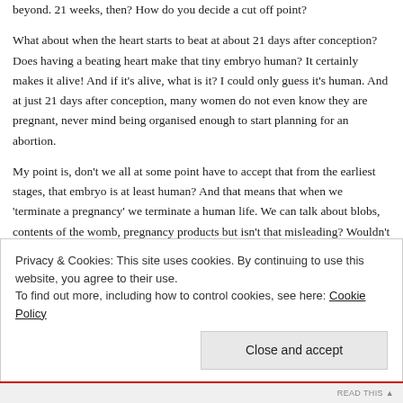beyond. 21 weeks, then? How do you decide a cut off point?
What about when the heart starts to beat at about 21 days after conception? Does having a beating heart make that tiny embryo human? It certainly makes it alive! And if it's alive, what is it? I could only guess it's human. And at just 21 days after conception, many women do not even know they are pregnant, never mind being organised enough to start planning for an abortion.
My point is, don't we all at some point have to accept that from the earliest stages, that embryo is at least human? And that means that when we 'terminate a pregnancy' we terminate a human life. We can talk about blobs, contents of the womb, pregnancy products but isn't that misleading? Wouldn't it be more honest if at the very least we
Privacy & Cookies: This site uses cookies. By continuing to use this website, you agree to their use.
To find out more, including how to control cookies, see here: Cookie Policy
Close and accept